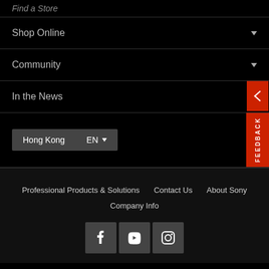Find a Store
Shop Online
Community
In the News
Hong Kong  EN
FEEDBACK
Professional Products & Solutions  Contact Us  About Sony  Company Info
[Figure (other): Social media icons: Facebook, YouTube, Instagram]